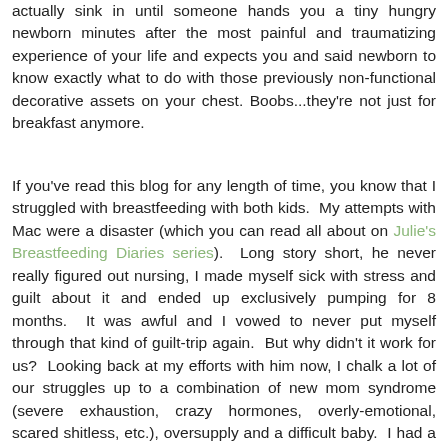actually sink in until someone hands you a tiny hungry newborn minutes after the most painful and traumatizing experience of your life and expects you and said newborn to know exactly what to do with those previously non-functional decorative assets on your chest. Boobs...they're not just for breakfast anymore.
If you've read this blog for any length of time, you know that I struggled with breastfeeding with both kids.  My attempts with Mac were a disaster (which you can read all about on Julie's Breastfeeding Diaries series).  Long story short, he never really figured out nursing, I made myself sick with stress and guilt about it and ended up exclusively pumping for 8 months.  It was awful and I vowed to never put myself through that kind of guilt-trip again.  But why didn't it work for us?  Looking back at my efforts with him now, I chalk a lot of our struggles up to a combination of new mom syndrome (severe exhaustion, crazy hormones, overly-emotional, scared shitless, etc.), oversupply and a difficult baby.  I had a tough birth (17 hours of labor followed by c-section) and was a physical and emotional wreck for weeks.  I felt like every tiny decision I made at the time was life and death and